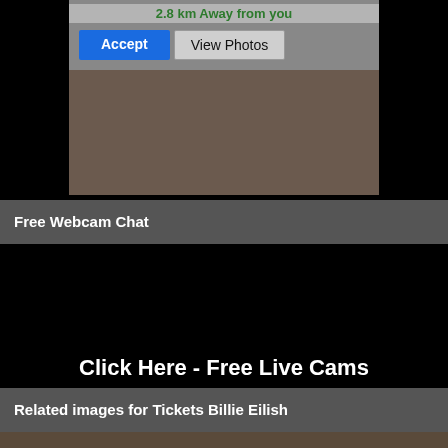[Figure (screenshot): Advertisement screenshot showing '2.8 km Away from you' text in green, with a blue Accept button and a View Photos button, over a blurred photo background]
Free Webcam Chat
[Figure (other): Black area placeholder for embedded webcam chat widget]
Click Here - Free Live Cams
Related images for Tickets Billie Eilish
[Figure (photo): Bottom strip showing start of related images for Tickets Billie Eilish]